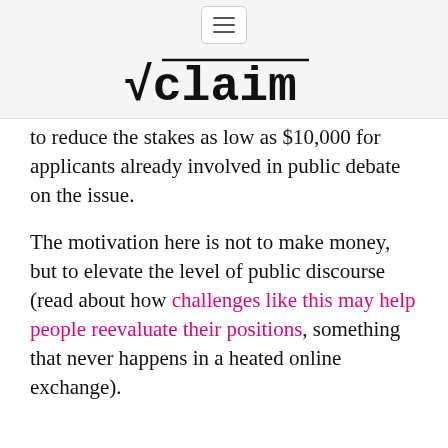√claim (logo)
to reduce the stakes as low as $10,000 for applicants already involved in public debate on the issue.
The motivation here is not to make money, but to elevate the level of public discourse (read about how challenges like this may help people reevaluate their positions, something that never happens in a heated online exchange).